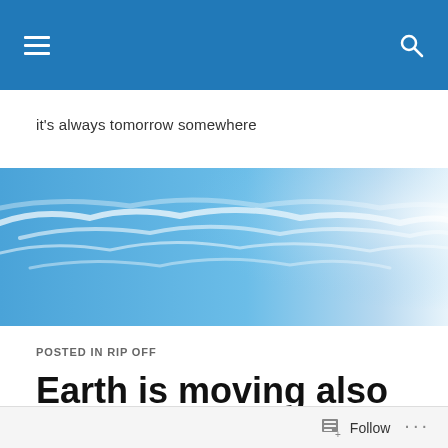navigation bar with hamburger menu and search icon
it's always tomorrow somewhere
[Figure (photo): Blue sky with wispy white clouds, bright light on the right side]
POSTED IN RIP OFF
Earth is moving also for Limerick City of Culture
Follow ...